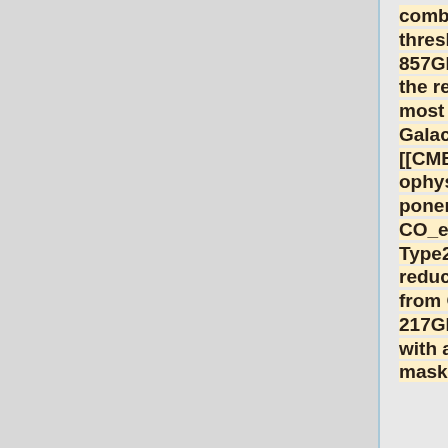combination of thresholding in the 857GHz map (to remove the regions which are most contaminated by Galactic dust) and the [[CMB_and_astrophysical_component_maps#CO_emission_maps | Type2 CO map]] (to reduce contamination from CO lines at 217GHz). This is joined with a compact object mask synthesized